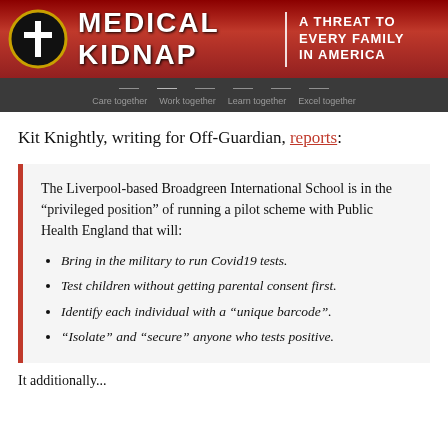[Figure (logo): Medical Kidnap website header banner with red background, cross logo, title 'MEDICAL KIDNAP', divider, and subtitle 'A THREAT TO EVERY FAMILY IN AMERICA']
Care together  Work together  Learn together  Excel together
Kit Knightly, writing for Off-Guardian, reports:
The Liverpool-based Broadgreen International School is in the “privileged position” of running a pilot scheme with Public Health England that will:
Bring in the military to run Covid19 tests.
Test children without getting parental consent first.
Identify each individual with a “unique barcode”.
“Isolate” and “secure” anyone who tests positive.
It additionally...